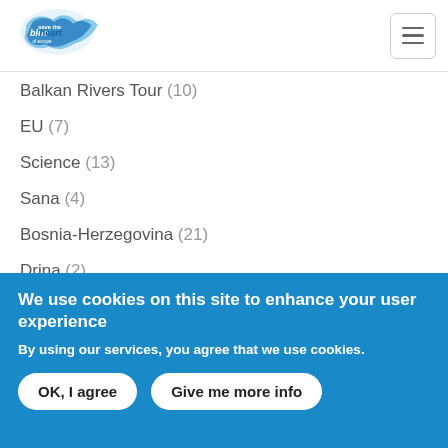Save the Blue Heart of Europe
Balkan Rivers Tour (10)
EU (7)
Science (13)
Sana (4)
Bosnia-Herzegovina (21)
Drina (2)
Bankwatch (7)
Petition (6)
Romania (1)
Mura (3)
Campaign Event (4)
WFMD (2)
Una (1)
Croatia (1)
We use cookies on this site to enhance your user experience
By using our services, you agree that we use cookies.
OK, I agree | Give me more info